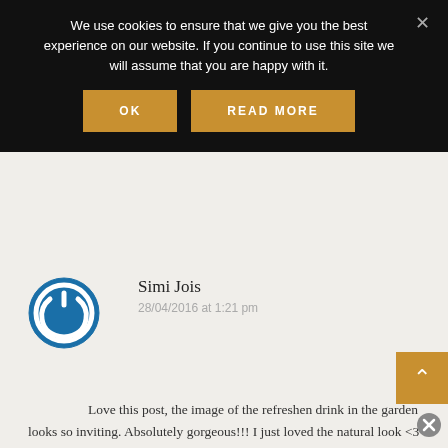We use cookies to ensure that we give you the best experience on our website. If you continue to use this site we will assume that you are happy with it.
[Figure (screenshot): Cookie consent banner with black background, two gold buttons labeled OK and READ MORE, and an X close button]
[Figure (illustration): Blue circular power icon avatar for commenter Simi Jois]
Simi Jois
28/04/2016 at 1:21 pm
Love this post, the image of the refreshen drink in the garden looks so inviting. Absolutely gorgeous!!! I just loved the natural look <3
REPLY